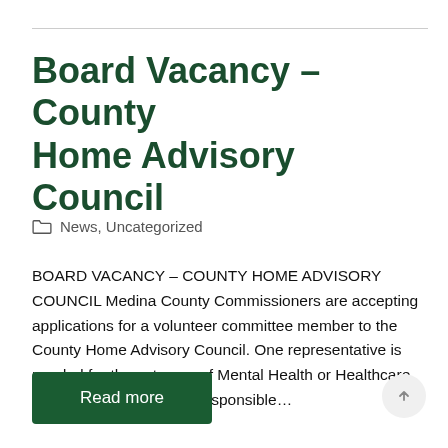Board Vacancy – County Home Advisory Council
News, Uncategorized
BOARD VACANCY – COUNTY HOME ADVISORY COUNCIL Medina County Commissioners are accepting applications for a volunteer committee member to the County Home Advisory Council. One representative is needed for the category of Mental Health or Healthcare Professional. Council is responsible…